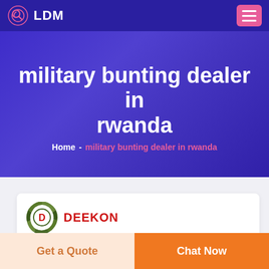LDM
military bunting dealer in rwanda
Home - military bunting dealer in rwanda
[Figure (logo): DEEKON brand logo — circular camouflage-patterned emblem with a red D in the center, and DEEKON text in red below]
Get a Quote
Chat Now